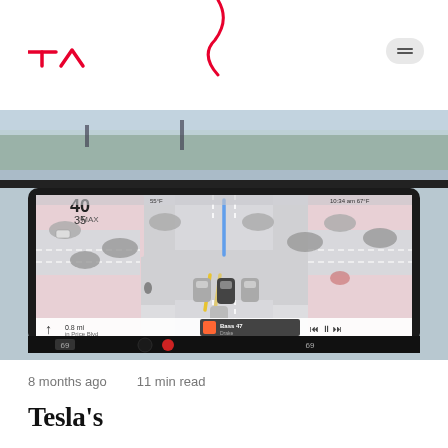TA (logo)
[Figure (photo): Photo of Tesla car interior showing the large touchscreen display with Autopilot/FSD visualization — a top-down map view showing the ego car in center lane with surrounding vehicles, lane markings in blue and yellow, and intersection. Background shows a city street through the windshield. Bottom of screen shows navigation and media controls.]
8 months ago    11 min read
Tesla's Autopilot...